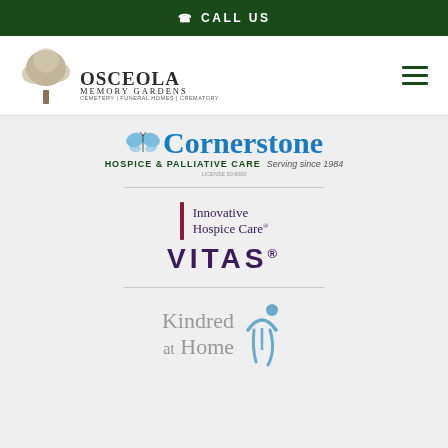CALL US
[Figure (logo): Osceola Memory Gardens logo with tree illustration. Text: OSCEOLA MEMORY GARDENS, Cemetery | Funeral Homes | Crematory]
[Figure (logo): Cornerstone Hospice & Palliative Care logo with butterfly. Text: Cornerstone HOSPICE & PALLIATIVE CARE Serving since 1984. License 50:9000]
[Figure (logo): VITAS Innovative Hospice Care logo with burgundy vertical bar accent]
[Figure (logo): Kindred at Home logo with stylized blue figure]